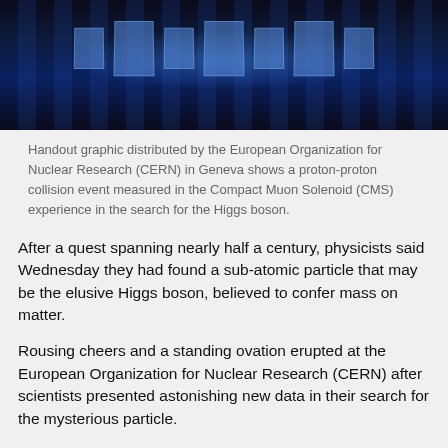[Figure (photo): Handout graphic from CERN showing a proton-proton collision event measured in the Compact Muon Solenoid (CMS) detector, displayed as blue rectangular blocks on a dark background.]
Handout graphic distributed by the European Organization for Nuclear Research (CERN) in Geneva shows a proton-proton collision event measured in the Compact Muon Solenoid (CMS) experience in the search for the Higgs boson.
After a quest spanning nearly half a century, physicists said Wednesday they had found a sub-atomic particle that may be the elusive Higgs boson, believed to confer mass on matter.
Rousing cheers and a standing ovation erupted at the European Organization for Nuclear Research (CERN) after scientists presented astonishing new data in their search for the mysterious particle.
Many hailed it as a moment in history, and white-haired veterans of the quest shed tears of joy.
The new find is "consistent with (the) long-sought Higgs boson," CERN declared in a statement.
"We have reached a milestone in our understanding of nature," said